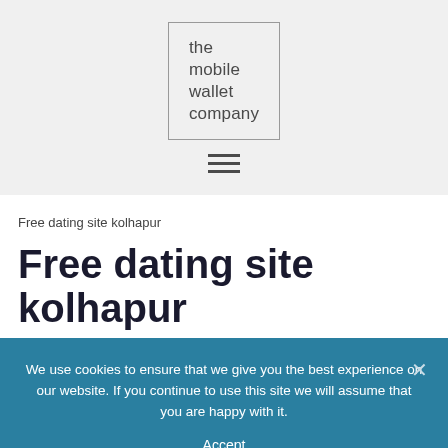[Figure (logo): The mobile wallet company logo in a bordered box]
[Figure (other): Hamburger menu icon with three horizontal lines]
Free dating site kolhapur
Free dating site kolhapur
We use cookies to ensure that we give you the best experience on our website. If you continue to use this site we will assume that you are happy with it.
Accept